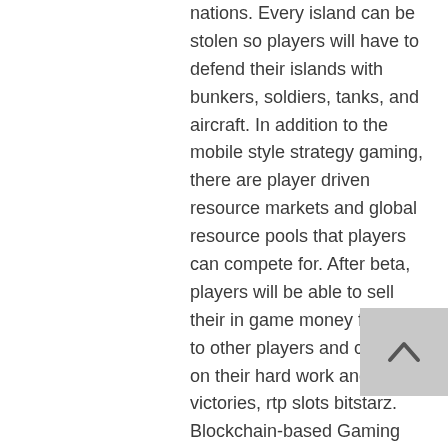nations. Every island can be stolen so players will have to defend their islands with bunkers, soldiers, tanks, and aircraft. In addition to the mobile style strategy gaming, there are player driven resource markets and global resource pools that players can compete for. After beta, players will be able to sell their in game money for CHI to other players and cash in on their hard work and victories, rtp slots bitstarz. Blockchain-based Gaming Platform Exeedme Announces Strategic Investors And Partners.
Today's Results:
La Dolce Vita - 318.4 btc
Jungle Monkeys - 210.9 btc
Fancy Fruits Chicken Shooter - 647.3 dog
Disco Bar 7s - 101.7 bch
Cat In Vegas - 512 ltc
Jean Wealth - 370 bch
Nacho Libre - 343.3 usdt
Lapland - 417.2 dog